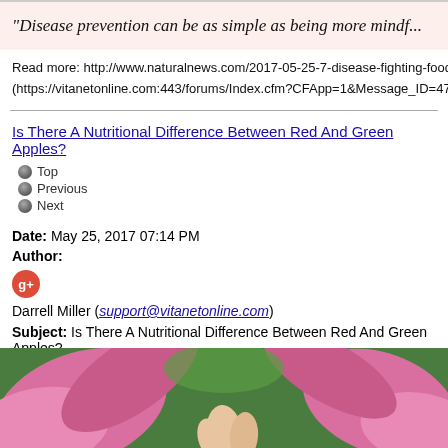"Disease prevention can be as simple as being more mindful...
Read more: http://www.naturalnews.com/2017-05-25-7-disease-fighting-foods...
(https://vitanetonline.com:443/forums/Index.cfm?CFApp=1&Message_ID=474...
Is There A Nutritional Difference Between Red And Green Apples?
Top
Previous
Next
Date: May 25, 2017 07:14 PM
Author:
[Figure (logo): Google+ icon - red circle with white G+ symbol]
Darrell Miller (support@vitanetonline.com)
Subject: Is There A Nutritional Difference Between Red And Green Apples?
[Figure (photo): Close-up photo of pink flower petals with green background and a hand touching them]